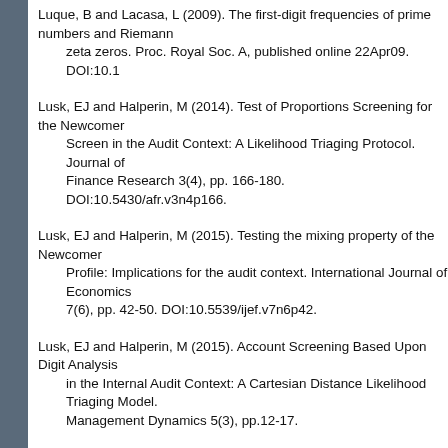Luque, B and Lacasa, L (2009). The first-digit frequencies of prime numbers and Riemann zeta zeros. Proc. Royal Soc. A, published online 22Apr09. DOI:10.1...
Lusk, EJ and Halperin, M (2014). Test of Proportions Screening for the Newcomer Screen in the Audit Context: A Likelihood Triaging Protocol. Journal of Finance Research 3(4), pp. 166-180. DOI:10.5430/afr.v3n4p166.
Lusk, EJ and Halperin, M (2015). Testing the mixing property of the Newcomer Profile: Implications for the audit context. International Journal of Economics 7(6), pp. 42-50. DOI:10.5539/ijef.v7n6p42.
Lusk, EJ and Halperin, M (2015). Account Screening Based Upon Digit Analysis in the Internal Audit Context: A Cartesian Distance Likelihood Triaging Model. Management Dynamics 5(3), pp.12-17.
Macías, ALO and Ogua, ST (2018). Encontrando datos anómlos en la contabilidad. Aplicación de la Ley de Benford en el Impuesto a la Renta en Ecuador [Anomalous data in taxation. Application of the Benford Law on Income Tax in Ecuador]. 10(2), pp. 173-188. [SPA]
Mainusch, NM (2020). On Benford's law - Computing a Bayes factor with a non-parametric method to quantify conformance of numerical data to Benford's law. Masters thesis, University of Osnabrueck, Institute of Cognitive Science, Germany.
Michalski, T and Stoltz, G (2013). Do Countries Falsify Economic Data Strategically?...